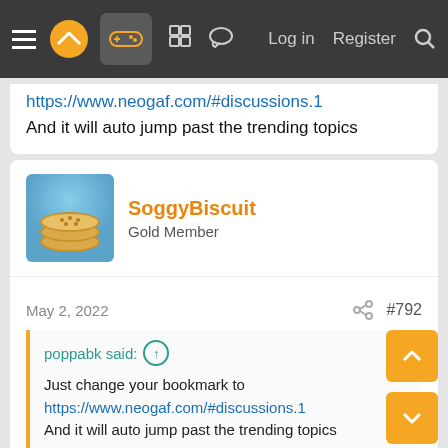NeoGAF navigation bar with hamburger menu, logo, gamepad icon, grid icon, chat icon, Log in, Register, Search
https://www.neogaf.com/#discussions.1
And it will auto jump past the trending topics
SoggyBiscuit
Gold Member
May 2, 2022
#792
poppabk said: ↑
Just change your bookmark to
https://www.neogaf.com/#discussions.1
And it will auto jump past the trending topics
But that's useless for new people coming to the forum. Gives a bad first impression.
teezzy and John Bilbo